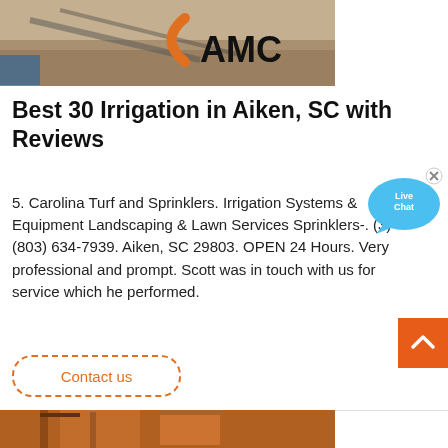[Figure (photo): Aerial view of industrial quarry or mining operation with conveyor belts and AMC logo overlay]
Best 30 Irrigation in Aiken, SC with Reviews
5. Carolina Turf and Sprinklers. Irrigation Systems & Equipment Landscaping & Lawn Services Sprinklers-. (3) (803) 634-7939. Aiken, SC 29803. OPEN 24 Hours. Very professional and prompt. Scott was in touch with us for service which he performed.
[Figure (illustration): Live Chat bubble widget with blue speech bubble and x close button]
Contact us
[Figure (photo): Industrial machinery with orange cranes or construction equipment]